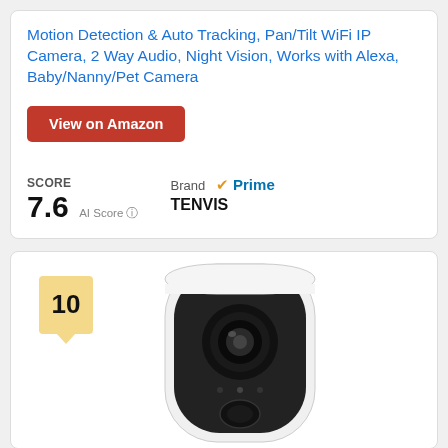Motion Detection & Auto Tracking, Pan/Tilt WiFi IP Camera, 2 Way Audio, Night Vision, Works with Alexa, Baby/Nanny/Pet Camera
View on Amazon
SCORE
7.6  AI Score
Brand  Prime
TENVIS
[Figure (photo): White and black security camera with rounded rectangular shape, front-facing lens, small LED dots, and a black speaker/button at the bottom. Label '10' shown in top-left badge.]